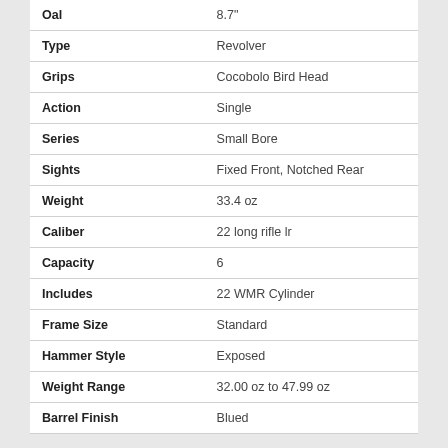| Attribute | Value |
| --- | --- |
| Oal | 8.7" |
| Type | Revolver |
| Grips | Cocobolo Bird Head |
| Action | Single |
| Series | Small Bore |
| Sights | Fixed Front, Notched Rear |
| Weight | 33.4 oz |
| Caliber | 22 long rifle lr |
| Capacity | 6 |
| Includes | 22 WMR Cylinder |
| Frame Size | Standard |
| Hammer Style | Exposed |
| Weight Range | 32.00 oz to 47.99 oz |
| Barrel Finish | Blued |